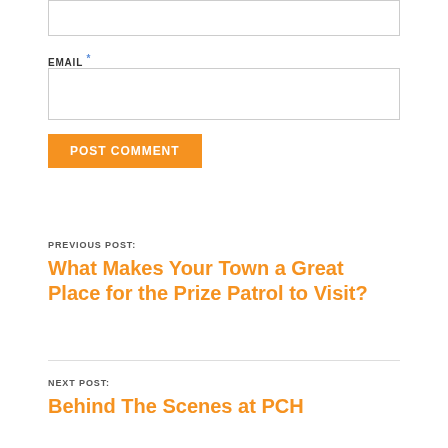[Figure (screenshot): Empty text input box at top of page]
EMAIL *
[Figure (screenshot): Empty email input box]
POST COMMENT
PREVIOUS POST:
What Makes Your Town a Great Place for the Prize Patrol to Visit?
NEXT POST:
Behind The Scenes at PCH